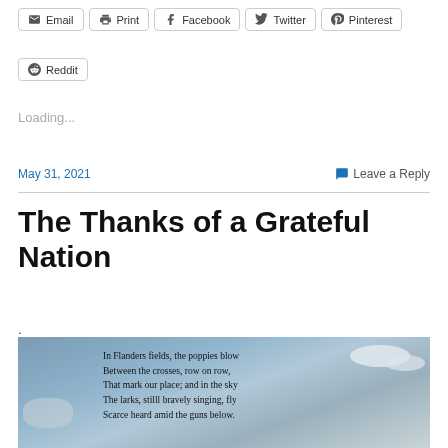[Figure (screenshot): Share buttons row: Email, Print, Facebook, Twitter, Pinterest]
[Figure (screenshot): Share button: Reddit]
Loading...
May 31, 2021
Leave a Reply
The Thanks of a Grateful Nation
.
[Figure (photo): Sky with clouds background, overlaid with poem text: 'In Flanders fields, the poppies blow / Between the crosses, row on row, / That mark our place; and in the sky / The larks, stilll bravely singing, fly / Scarce heard amid the guns below.']